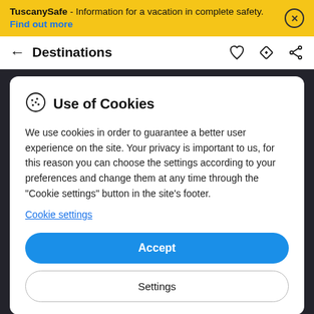TuscanySafe - Information for a vacation in complete safety. Find out more
Destinations
Use of Cookies
We use cookies in order to guarantee a better user experience on the site. Your privacy is important to us, for this reason you can choose the settings according to your preferences and change them at any time through the "Cookie settings" button in the site's footer.
Cookie settings
Accept
Settings